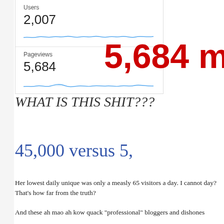[Figure (screenshot): Google Analytics widget showing Users: 2,007 with sparkline, and Pageviews: 5,684 with sparkline]
5,684 mont
WHAT IS THIS SHIT???
45,000 versus 5,
Her lowest daily unique was only a measly 65 visitors a day. I cannot day? That's how far from the truth?
And these ah mao ah kow quack "professional" bloggers and dishones